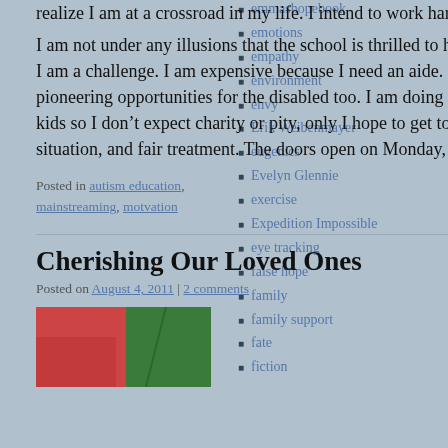realize I am at a crossroad in my life. I intend to work hard and earn this opportunity.
I am not under any illusions that the school is thrilled to have a seriously disabled student. I am a challenge. I am expensive because I need an aide. But I am a student who is pioneering opportunities for the disabled too. I am doing the same work as all the other kids so I don't expect charity or pity, only I hope to get tolerance, sensitivity to my situation, and fair treatment. The doors open on Monday, and I'll try my best.
Posted in autism education, mainstreaming, motvation   1 Comment
Cherishing Our Loved Ones
Posted on August 4, 2011 | 2 comments
[Figure (photo): Preview image of a post, showing red and green colors]
emmashopebook
emotions
empathy
environment
envy
Erik Weibenmayer
eugenics
Evelyn Glennie
exercise
Expedition Impossible
eye tracking
false hope
family
family support
fate
fiction